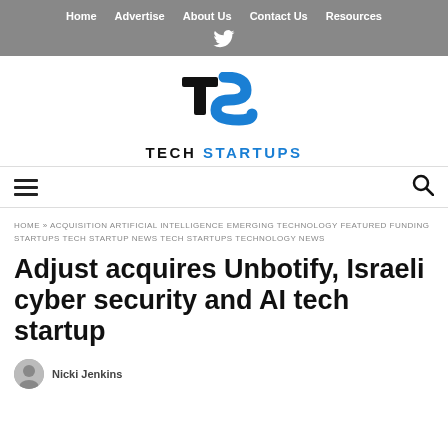Home  Advertise  About Us  Contact Us  Resources
[Figure (logo): Tech Startups logo with stylized TS monogram in black and blue, with text TECH STARTUPS below]
HOME » ACQUISITION ARTIFICIAL INTELLIGENCE EMERGING TECHNOLOGY FEATURED FUNDING STARTUPS TECH STARTUP NEWS TECH STARTUPS TECHNOLOGY NEWS
Adjust acquires Unbotify, Israeli cyber security and AI tech startup
Nicki Jenkins